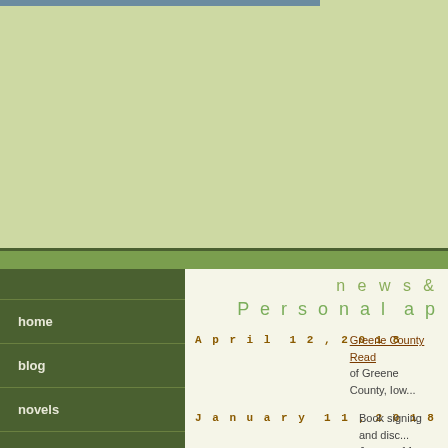[Figure (screenshot): Website screenshot showing a light green banner header area with a blue-gray stripe at top left, a medium green horizontal band, dark olive divider, left dark green navigation sidebar, and right content area on cream background]
home
blog
novels
short stories & essays
about Bryn
news &
Personal ap
April 12, 2018 — Greene County Read... of Greene County, Iow...
January 11, 2018 — Book signing and disc... January 11, 7:00 pm,...